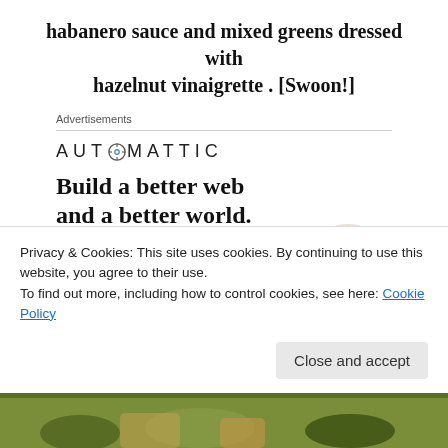habanero sauce and mixed greens dressed with hazelnut vinaigrette . [Swoon!]
Advertisements
[Figure (logo): Automattic logo with compass icon replacing the O in AUTOMATTIC]
[Figure (infographic): Advertisement for Automattic: Build a better web and a better world. Apply button and photo of person thinking.]
Privacy & Cookies: This site uses cookies. By continuing to use this website, you agree to their use.
To find out more, including how to control cookies, see here: Cookie Policy
Close and accept